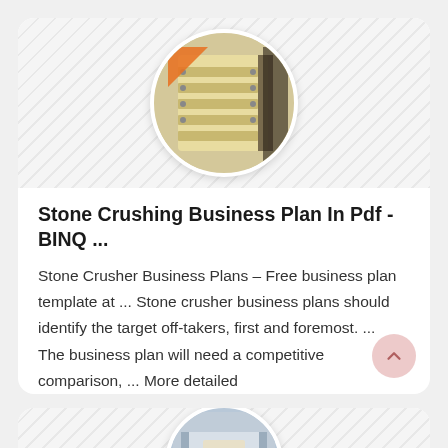[Figure (photo): Circular thumbnail image of a stone crushing machine (jaw crusher) with yellow/beige colored components, set against a diagonal-striped gray background]
Stone Crushing Business Plan In Pdf - BINQ ...
Stone Crusher Business Plans – Free business plan template at ... Stone crusher business plans should identify the target off-takers, first and foremost. ... The business plan will need a competitive comparison, ... More detailed
[Figure (photo): Circular thumbnail image of industrial machinery/equipment (appears to be a stone crusher or mining equipment) inside a facility, set against a diagonal-striped gray background]